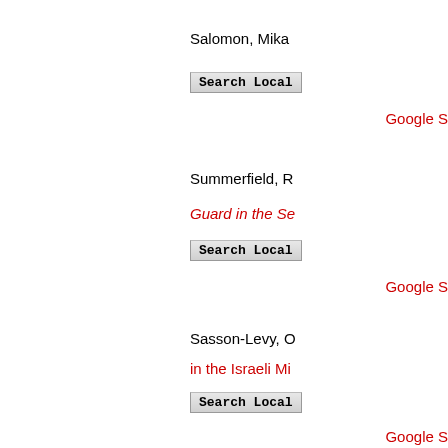Salomon, Mika
Search Local
Google S
Summerfield, R
Guard in the Se
Search Local
Google S
Sasson-Levy, O
in the Israeli Mi
Search Local
Google S
Small, Hugh. T
Search Local
Google S
Soeters, Josep
Comparison. A
Search Local